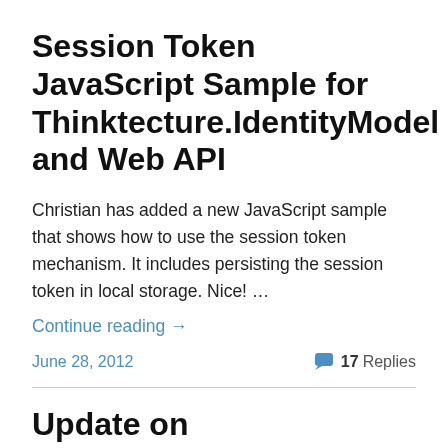Session Token JavaScript Sample for Thinktecture.IdentityModel and Web API
Christian has added a new JavaScript sample that shows how to use the session token mechanism. It includes persisting the session token in local storage. Nice! …
Continue reading →
June 28, 2012    💬 17 Replies
Update on Thinktecture.IdentityServer for